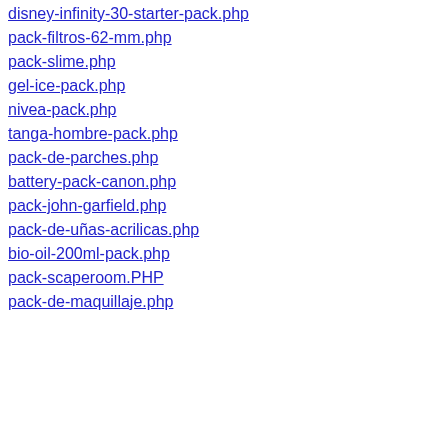disney-infinity-30-starter-pack.php
pack-filtros-62-mm.php
pack-slime.php
gel-ice-pack.php
nivea-pack.php
tanga-hombre-pack.php
pack-de-parches.php
battery-pack-canon.php
pack-john-garfield.php
pack-de-uñas-acrilicas.php
bio-oil-200ml-pack.php
pack-scaperoom.PHP
pack-de-maquillaje.php